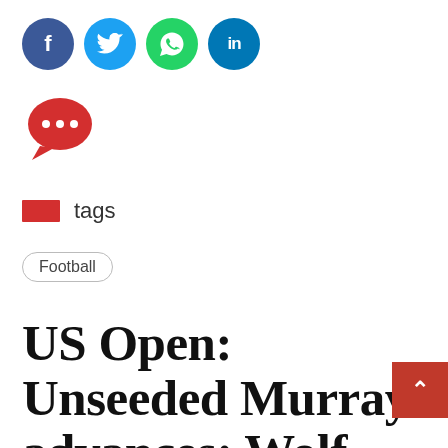[Figure (illustration): Social media share icons: Facebook (blue circle with f), Twitter (light blue circle with bird), WhatsApp (green circle with phone), LinkedIn (dark blue circle with in)]
[Figure (illustration): Red speech bubble icon with three dots (comment/chat icon)]
tags
Football
US Open: Unseeded Murray advances; Wolf beats Bautista Agut in first upset